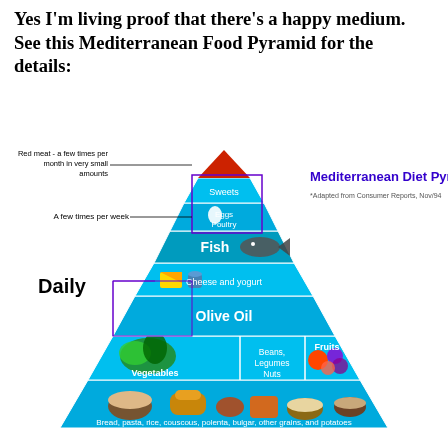Yes I'm living proof that there's a happy medium. See this Mediterranean Food Pyramid for the details:
[Figure (infographic): Mediterranean Diet Pyramid infographic showing food groups by frequency: base layer (Bread, pasta, rice, couscous, polenta, bulgar, other grains, and potatoes) labeled Daily; next layer (Vegetables / Beans, Legumes, Nuts / Fruits); next layer (Olive Oil); next layer (Cheese and yogurt); next layer (Fish) labeled A few times per week; next layer (Eggs, Poultry); top layer (Sweets); apex (Red meat - a few times per month in very small amounts). Title: Mediterranean Diet Pyramid*. Footnote: *Adapted from Consumer Reports, Nov/94.]